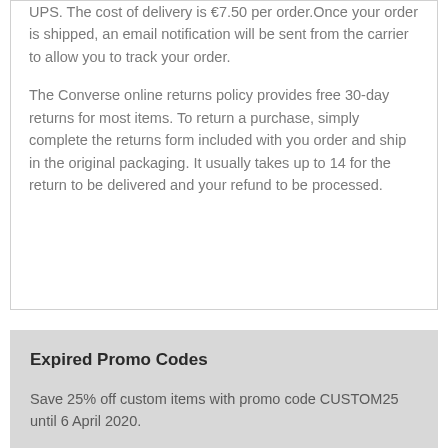UPS. The cost of delivery is €7.50 per order.Once your order is shipped, an email notification will be sent from the carrier to allow you to track your order.
The Converse online returns policy provides free 30-day returns for most items. To return a purchase, simply complete the returns form included with you order and ship in the original packaging. It usually takes up to 14 for the return to be delivered and your refund to be processed.
Expired Promo Codes
Save 25% off custom items with promo code CUSTOM25 until 6 April 2020.